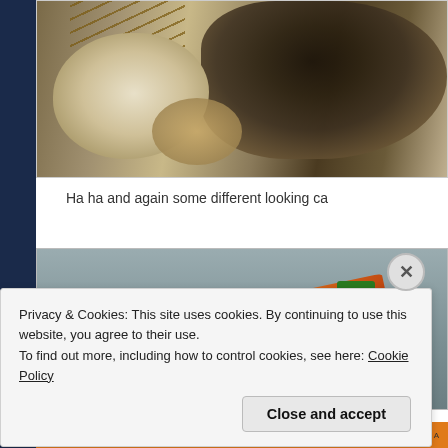[Figure (photo): Close-up photo of root vegetables (possibly turnips or garlic bulbs) with soil and roots visible on a light surface]
Ha ha and again some different looking ca
[Figure (photo): Photo of an oddly-shaped carrot on a grey surface]
Privacy & Cookies: This site uses cookies. By continuing to use this website, you agree to their use.
To find out more, including how to control cookies, see here: Cookie Policy
Close and accept